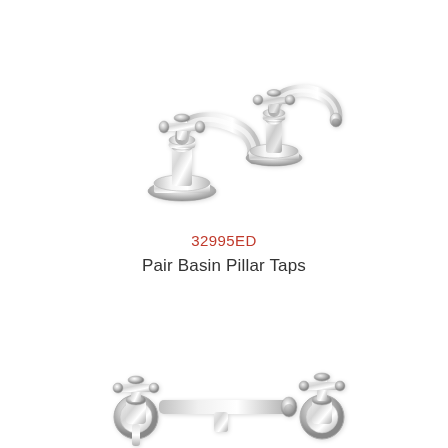[Figure (photo): Chrome pair basin pillar taps - two traditional cross-head chrome pillar taps shown together]
32995ED
Pair Basin Pillar Taps
[Figure (photo): Chrome wall-mounted bath taps with cross handles and lever, shown partially at bottom of page]